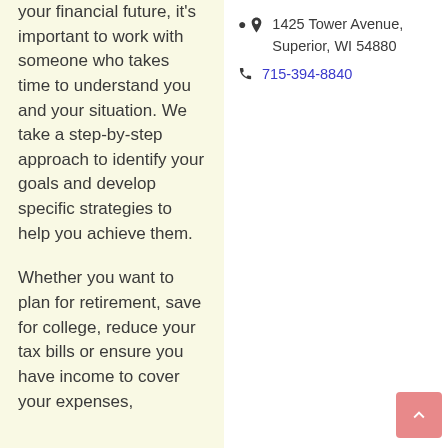your financial future, it's important to work with someone who takes time to understand you and your situation. We take a step-by-step approach to identify your goals and develop specific strategies to help you achieve them.

Whether you want to plan for retirement, save for college, reduce your tax bills or ensure you have income to cover your expenses,
1425 Tower Avenue, Superior, WI 54880
715-394-8840